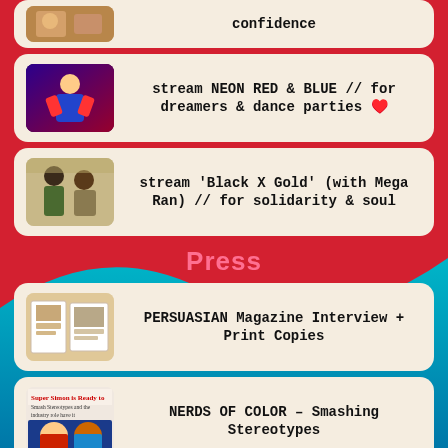confidence
stream NEON RED & BLUE // for dreamers & dance parties ♥️
stream 'Black X Gold' (with Mega Ran) // for solidarity & soul
Press
PERSUASIAN Magazine Interview + Print Copies
NERDS OF COLOR – Smashing Stereotypes
ROLLING STONE INDIA – Global